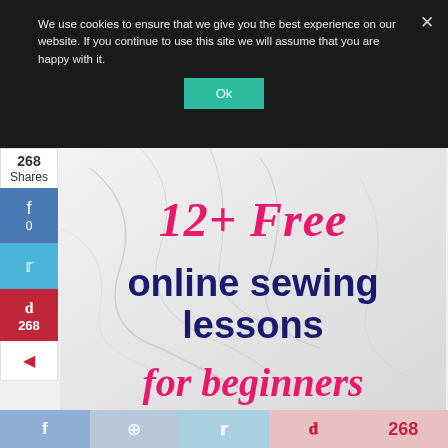We use cookies to ensure that we give you the best experience on our website. If you continue to use this site we will assume that you are happy with it.
Ok
268
Shares
f
0
𝓽
p
268
[Figure (illustration): Marble background image with text: 12+ Free online sewing lessons for beginners. Pink/magenta script for '12+ Free' and 'for beginners', navy blue sans-serif for 'online sewing lessons'.]
f
⊕
𝓽
p  268